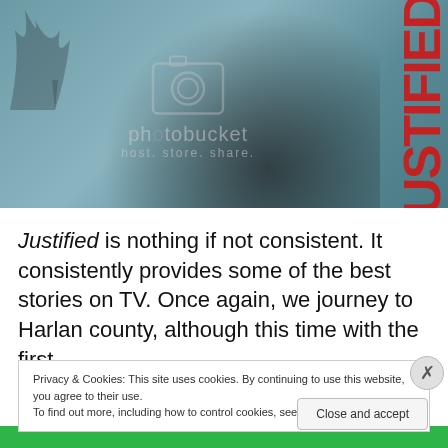[Figure (screenshot): Photobucket placeholder image with a dark figure against a teal/blue background. A Photobucket camera icon watermark and text 'photobucket host. store. share.' is overlaid. On the right edge, large bold red vertical text reads 'USTIFIED' (part of 'JUSTIFIED').]
Justified is nothing if not consistent. It consistently provides some of the best stories on TV. Once again, we journey to Harlan county, although this time with the first
Privacy & Cookies: This site uses cookies. By continuing to use this website, you agree to their use.
To find out more, including how to control cookies, see here: Cookie Policy